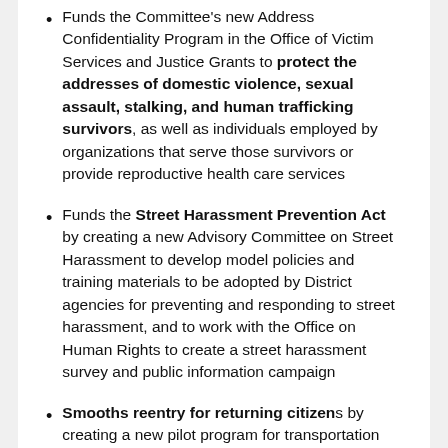Funds the Committee's new Address Confidentiality Program in the Office of Victim Services and Justice Grants to protect the addresses of domestic violence, sexual assault, stalking, and human trafficking survivors, as well as individuals employed by organizations that serve those survivors or provide reproductive health care services
Funds the Street Harassment Prevention Act by creating a new Advisory Committee on Street Harassment to develop model policies and training materials to be adopted by District agencies for preventing and responding to street harassment, and to work with the Office on Human Rights to create a street harassment survey and public information campaign
Smooths reentry for returning citizens by creating a new pilot program for transportation assistance at the Mayor's Office of Returning Citizen Affairs, and waives fees in FY19 for driver's